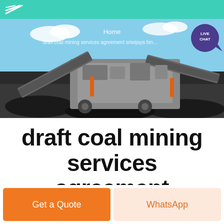draft coal mining services agreement sriwijaya bintang
[Figure (photo): Hero banner showing industrial coal mining machinery/crusher on a site with blue sky backdrop. Navigation shows 'Home' and breadcrumb 'draft coal mining services agreement sriwijaya bin...' A purple live chat bubble appears top right.]
draft coal mining services agreement sriwijaya bintang
Get a Quote
WhatsApp